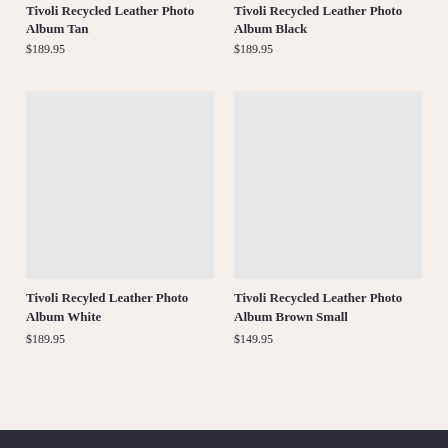Tivoli Recycled Leather Photo Album Tan
$189.95
Tivoli Recycled Leather Photo Album Black
$189.95
[Figure (photo): Product image placeholder for Tivoli Recyled Leather Photo Album White]
[Figure (photo): Product image placeholder for Tivoli Recycled Leather Photo Album Brown Small]
Tivoli Recyled Leather Photo Album White
$189.95
Tivoli Recycled Leather Photo Album Brown Small
$149.95